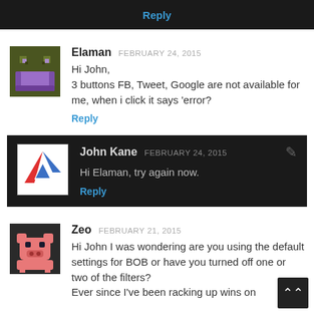Reply
Elaman FEBRUARY 24, 2015
Hi John,
3 buttons FB, Tweet, Google are not available for me, when i click it says 'error?
Reply
John Kane FEBRUARY 24, 2015
Hi Elaman, try again now.
Reply
Zeo FEBRUARY 21, 2015
Hi John I was wondering are you using the default settings for BOB or have you turned off one or two of the filters?
Ever since I've been racking up wins on